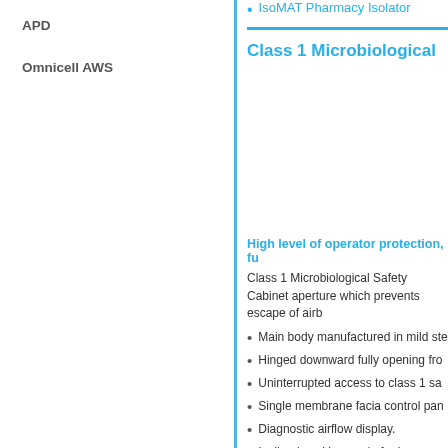IsoMAT Pharmacy Isolator
APD
Omnicell AWS
Class 1 Microbiological
High level of operator protection, fu
Class 1 Microbiological Safety Cabinet aperture which prevents escape of airb
Main body manufactured in mild ste
Hinged downward fully opening fro
Uninterrupted access to class 1 sa
Single membrane facia control pan
Diagnostic airflow display.
Inclined working angle for improve